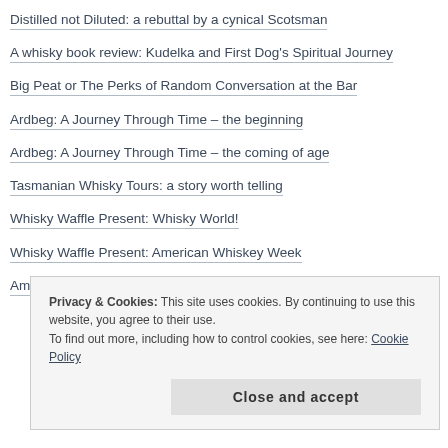Distilled not Diluted: a rebuttal by a cynical Scotsman
A whisky book review: Kudelka and First Dog's Spiritual Journey
Big Peat or The Perks of Random Conversation at the Bar
Ardbeg: A Journey Through Time – the beginning
Ardbeg: A Journey Through Time – the coming of age
Tasmanian Whisky Tours: a story worth telling
Whisky Waffle Present: Whisky World!
Whisky Waffle Present: American Whiskey Week
American Whiskey Week: what we've learned
Privacy & Cookies: This site uses cookies. By continuing to use this website, you agree to their use. To find out more, including how to control cookies, see here: Cookie Policy
Close and accept